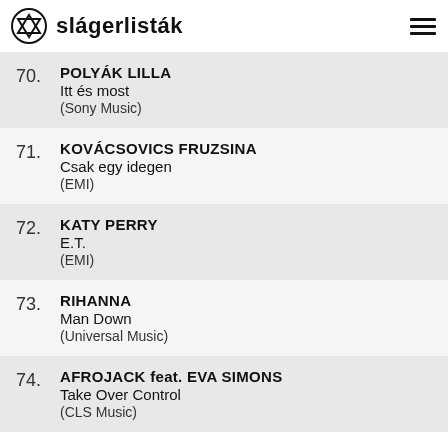slágerlisták
70. POLYÁK LILLA – Itt és most (Sony Music)
71. KOVÁCSOVICS FRUZSINA – Csak egy idegen (EMI)
72. KATY PERRY – E.T. (EMI)
73. RIHANNA – Man Down (Universal Music)
74. AFROJACK feat. EVA SIMONS – Take Over Control (CLS Music)